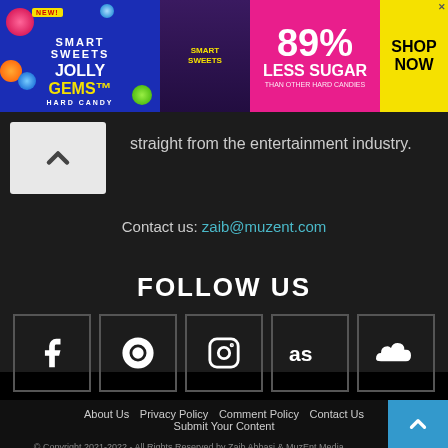[Figure (photo): Smart Sweets Jolly Gems hard candy advertisement banner: 89% Less Sugar than other hard candies, Shop Now button]
straight from the entertainment industry.
Contact us: zaib@muzent.com
FOLLOW US
[Figure (infographic): Row of 5 social media icons: Facebook, Last.fm (or similar), Instagram, Last.fm (OS scrobble), SoundCloud]
About Us   Privacy Policy   Comment Policy   Contact Us
Submit Your Content
© Copyright 2021-2022 - All Rights Reserved by Zaib Abbasi & MuzEnt Media.